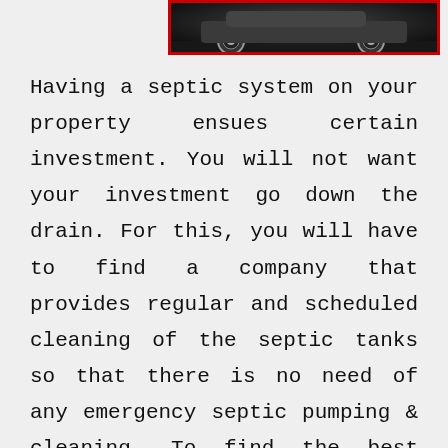[Figure (photo): Partial view of a vehicle (wheels visible) on a dark surface, framed with a red border]
Having a septic system on your property ensues certain investment. You will not want your investment go down the drain. For this, you will have to find a company that provides regular and scheduled cleaning of the septic tanks so that there is no need of any emergency septic pumping & cleaning. To find the best company for emergency septic pumping & cleaning in Lynnwood, you can consider the following factors: